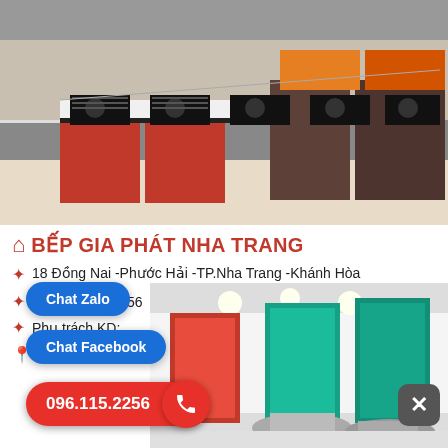[Figure (photo): Kitchen appliance showroom interior showing a row of built-in cooktops and stoves displayed on counters with red and brown cabinets]
BẾP GIA PHÁT NHA TRANG
18 Đồng Nai -Phước Hải -TP.Nha Trang -Khánh Hòa
ĐT: 096.115.2256
Phụ trách KD:
Bản đồ đường đi
[Figure (photo): Kitchen appliance showroom showing red and teal/cyan range hood displays on wall]
Chat Zalo
Chat Facebook
096.115.2256